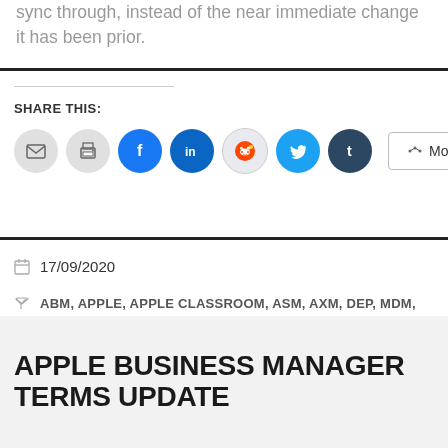sync through, instead of the near immediate change it has been prior.
SHARE THIS:
17/09/2020
ABM, APPLE, APPLE CLASSROOM, ASM, AXM, DEP, MDM, TERMS
LEAVE A COMMENT
APPLE BUSINESS MANAGER TERMS UPDATE